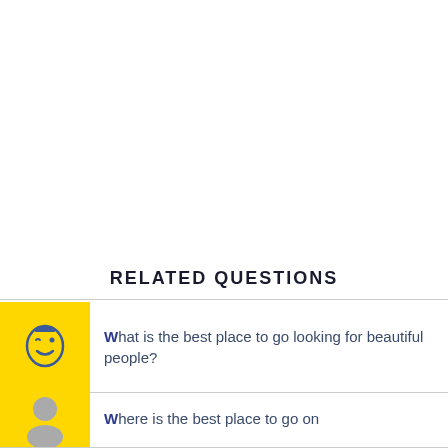RELATED QUESTIONS
What is the best place to go looking for beautiful people?
Where is the best place to go on